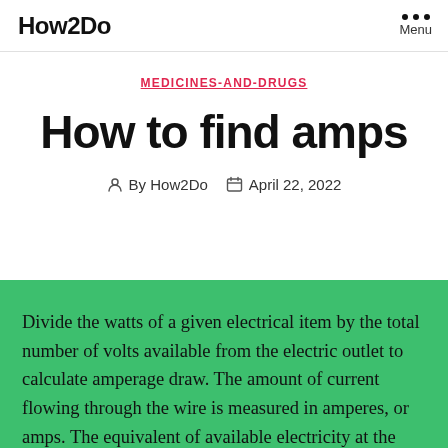How2Do  Menu
MEDICINES-AND-DRUGS
How to find amps
By How2Do   April 22, 2022
Divide the watts of a given electrical item by the total number of volts available from the electric outlet to calculate amperage draw. The amount of current flowing through the wire is measured in amperes, or amps. The equivalent of available electricity at the power source is